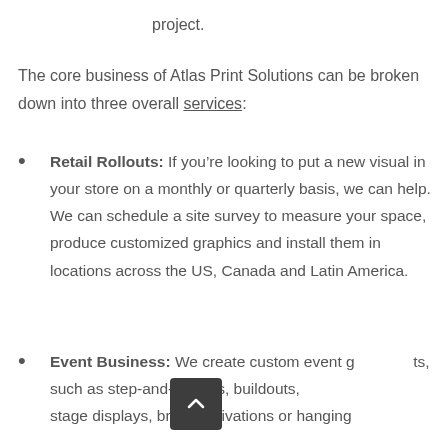project.
The core business of Atlas Print Solutions can be broken down into three overall services:
Retail Rollouts: If you’re looking to put a new visual in your store on a monthly or quarterly basis, we can help. We can schedule a site survey to measure your space, produce customized graphics and install them in locations across the US, Canada and Latin America.
Event Business: We create custom event graphics, such as step-and-repeats, buildouts, stage displays, brand activations or hanging